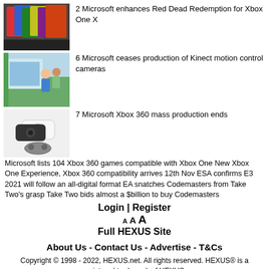[Figure (photo): Thumbnail image of Xbox game covers]
2 Microsoft enhances Red Dead Redemption for Xbox One X
[Figure (photo): Thumbnail image of Kinect motion control]
6 Microsoft ceases production of Kinect motion control cameras
[Figure (photo): Thumbnail image of Xbox 360 consoles]
7 Microsoft Xbox 360 mass production ends
Microsoft lists 104 Xbox 360 games compatible with Xbox One New Xbox One Experience, Xbox 360 compatibility arrives 12th Nov ESA confirms E3 2021 will follow an all-digital format EA snatches Codemasters from Take Two's grasp Take Two bids almost a $billion to buy Codemasters
Login | Register
A A A
Full HEXUS Site
About Us - Contact Us - Advertise - T&Cs
Copyright © 1998 - 2022, HEXUS.net. All rights reserved. HEXUS® is a registered trademark of HEXUS.